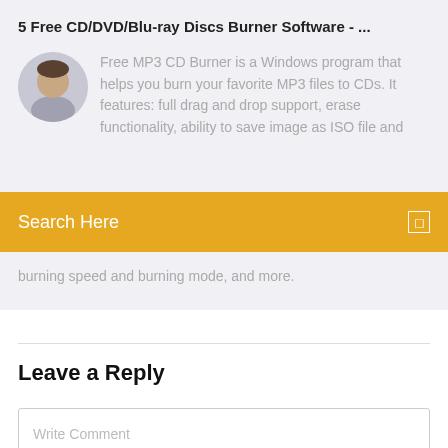5 Free CD/DVD/Blu-ray Discs Burner Software - ...
Free MP3 CD Burner is a Windows program that helps you burn your favorite MP3 files to CDs. It features: full drag and drop support, erase functionality, ability to save image as ISO file and burning speed and burning mode, and more.
Search Here
Leave a Reply
Write Comment